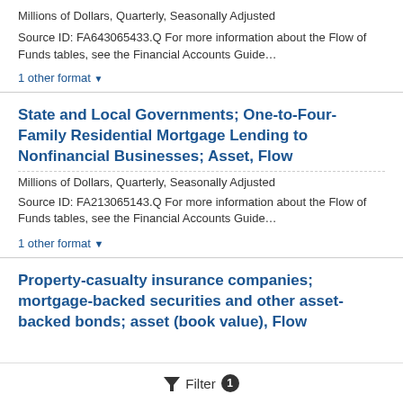Millions of Dollars, Quarterly, Seasonally Adjusted
Source ID: FA643065433.Q For more information about the Flow of Funds tables, see the Financial Accounts Guide…
1 other format ▼
State and Local Governments; One-to-Four-Family Residential Mortgage Lending to Nonfinancial Businesses; Asset, Flow
Millions of Dollars, Quarterly, Seasonally Adjusted
Source ID: FA213065143.Q For more information about the Flow of Funds tables, see the Financial Accounts Guide…
1 other format ▼
Property-casualty insurance companies; mortgage-backed securities and other asset-backed bonds; asset (book value), Flow
Filter 1